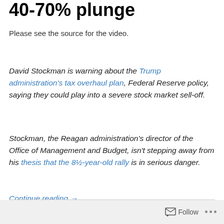40-70% plunge
Please see the source for the video.
David Stockman is warning about the Trump administration's tax overhaul plan, Federal Reserve policy, saying they could play into a severe stock market sell-off.
Stockman, the Reagan administration's director of the Office of Management and Budget, isn't stepping away from his thesis that the 8½-year-old rally is in serious danger.
Continue reading →
Follow ...